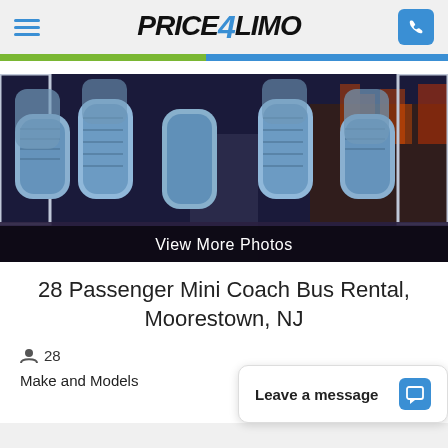PRICE4LIMO
[Figure (photo): Interior of a 28-passenger mini coach bus showing rows of blue patterned seats with a city skyline visible through windows at night, with 'View More Photos' overlay at bottom]
28 Passenger Mini Coach Bus Rental, Moorestown, NJ
28
Make and Models
Leave a message